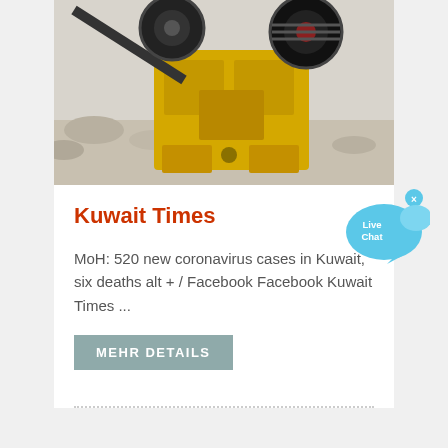[Figure (photo): Yellow industrial jaw crusher machine with black belt drive wheels, photographed outdoors on rocky ground]
Kuwait Times
MoH: 520 new coronavirus cases in Kuwait, six deaths alt + / Facebook Facebook Kuwait Times ...
MEHR DETAILS
[Figure (illustration): Live Chat speech bubble icon in blue/cyan color with 'Live Chat' text and an X close button]